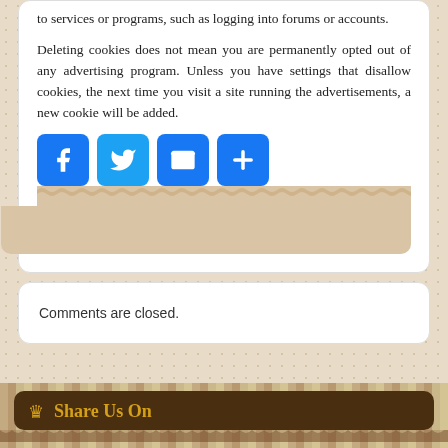to services or programs, such as logging into forums or accounts.
Deleting cookies does not mean you are permanently opted out of any advertising program. Unless you have settings that disallow cookies, the next time you visit a site running the advertisements, a new cookie will be added.
[Figure (infographic): Row of four social share buttons: Facebook (blue F), Twitter (blue bird), Email (blue envelope), Share/Plus (blue plus sign)]
Comments are closed.
Share Us On
[Figure (infographic): Row of four social share buttons: Facebook (blue F), Twitter (blue bird), Email (blue envelope), Share/Plus (blue plus sign)]